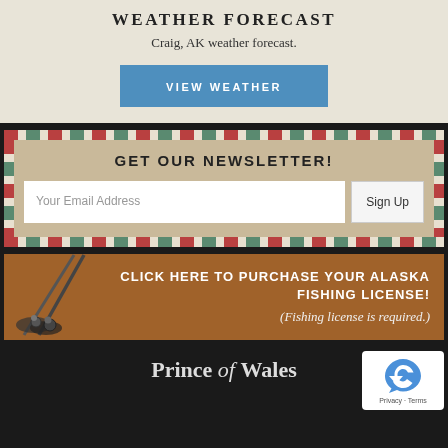WEATHER FORECAST
Craig, AK weather forecast.
VIEW WEATHER
GET OUR NEWSLETTER!
Your Email Address
Sign Up
CLICK HERE TO PURCHASE YOUR ALASKA FISHING LICENSE!
(Fishing license is required.)
Prince of Wales